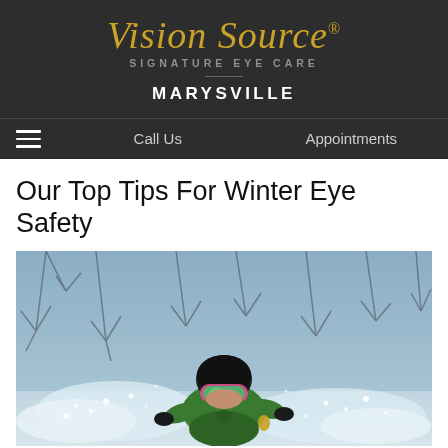Vision Source SIGNATURE EYE CARE MARYSVILLE
Call Us   Appointments
Our Top Tips For Winter Eye Safety
[Figure (photo): Child skier in green jacket, black helmet, and pink/green goggles skiing through powder snow with bare winter trees in background]